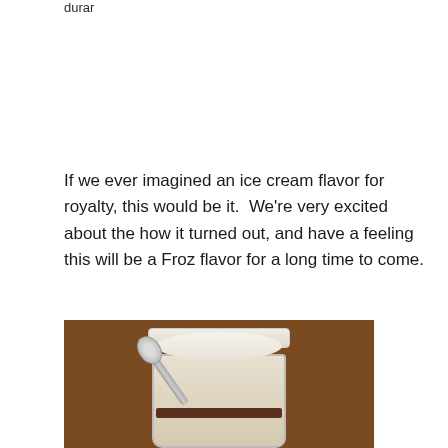durar
If we ever imagined an ice cream flavor for royalty, this would be it.  We're very excited about the how it turned out, and have a feeling this will be a Froz flavor for a long time to come.
[Figure (photo): Photo of a white cup of ice cream with a silver spoon resting in it, placed on a wooden surface. The cup appears to contain a light-colored ice cream with a dark chocolate layer visible near the bottom.]